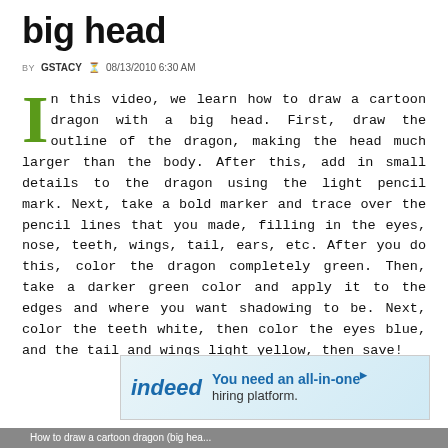big head
BY GSTACY  08/13/2010 6:30 AM
In this video, we learn how to draw a cartoon dragon with a big head. First, draw the outline of the dragon, making the head much larger than the body. After this, add in small details to the dragon using the light pencil mark. Next, take a bold marker and trace over the pencil lines that you made, filling in the eyes, nose, teeth, wings, tail, ears, etc. After you do this, color the dragon completely green. Then, take a darker green color and apply it to the edges and where you want shadowing to be. Next, color the teeth white, then color the eyes blue, and the tail and wings light yellow, then save!
[Figure (other): indeed advertisement banner: 'You need an all-in-one hiring platform.']
[Figure (screenshot): Video thumbnail strip showing 'How to draw a cartoon dragon (big hea...']